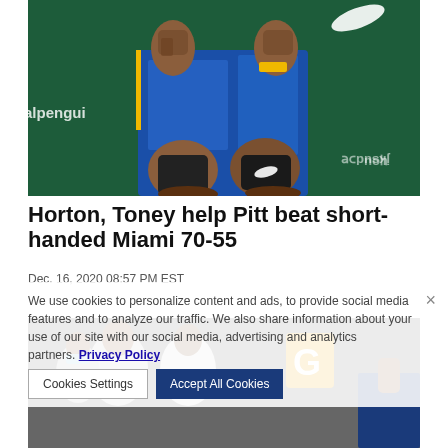[Figure (photo): Basketball player in blue Pittsburgh Panthers uniform celebrating, wearing Nike gear, with partial text 'alpenguin' visible in background]
Horton, Toney help Pitt beat short-handed Miami 70-55
Dec. 16, 2020 08:57 PM EST
We use cookies to personalize content and ads, to provide social media features and to analyze our traffic. We also share information about your use of our site with our social media, advertising and analytics partners. Privacy Policy
[Figure (photo): Basketball game scene with players and coach visible, partially obscured by cookie consent overlay]